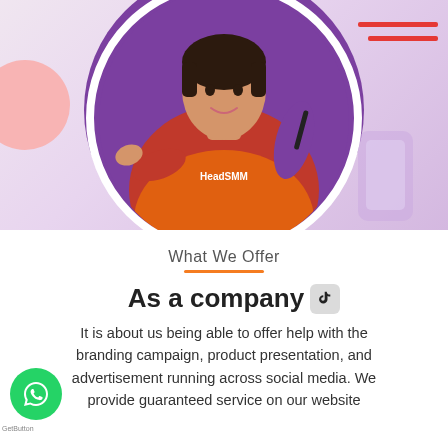[Figure (photo): Hero section with a person wearing a red/orange 'Head SMM' branded hoodie inside a purple circle with white circular frame. Red decorative lines top right. Pink circle decoration bottom left. Light purple phone/tablet decorative shape bottom right.]
What We Offer
As a company
It is about us being able to offer help with the branding campaign, product presentation, and advertisement running across social media. We provide guaranteed service on our website